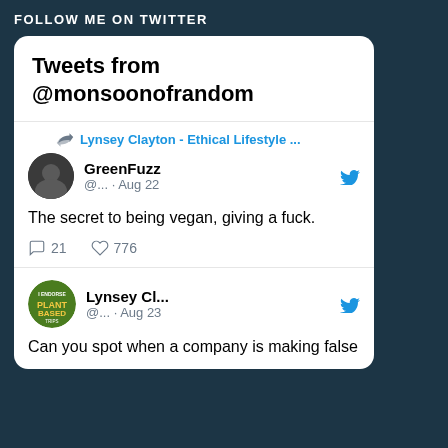FOLLOW ME ON TWITTER
Tweets from @monsoonofrandom
Lynsey Clayton - Ethical Lifestyle ...
GreenFuzz @... · Aug 22
The secret to being vegan, giving a fuck.
21  776
Lynsey Cl... @... · Aug 23
Can you spot when a company is making false